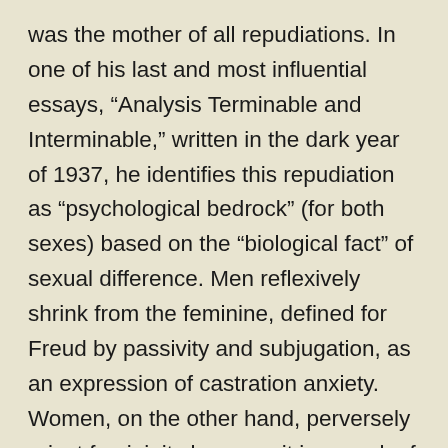was the mother of all repudiations. In one of his last and most influential essays, “Analysis Terminable and Interminable,” written in the dark year of 1937, he identifies this repudiation as “psychological bedrock” (for both sexes) based on the “biological fact” of sexual difference. Men reflexively shrink from the feminine, defined for Freud by passivity and subjugation, as an expression of castration anxiety. Women, on the other hand, perversely reject femininity because it is a mark of their shame — the shame of lacking a penis. Women, Freud ruled, must overcome their penis envy both as the literal desire to have what men have, and as a desire for masculine power and